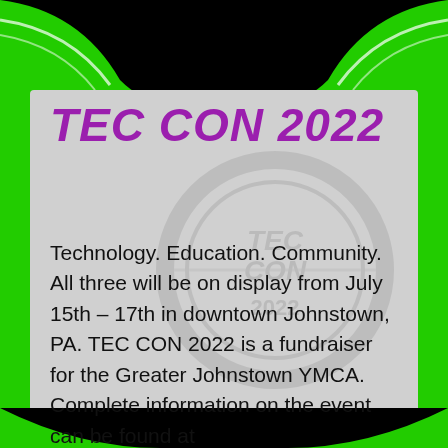TEC CON 2022
Technology. Education. Community. All three will be on display from July 15th – 17th in downtown Johnstown, PA. TEC CON 2022 is a fundraiser for the Greater Johnstown YMCA.  Complete information on the event can be found at TecConvention.com.   TEC CON 2022 events at 1st Summit Arena include:   Saturday, July 16 Rocket League Tournament 9 AM- 3 PM   This is an open tournament for anyone, featuring 2 different brackets each with a 16 team capacity. Each